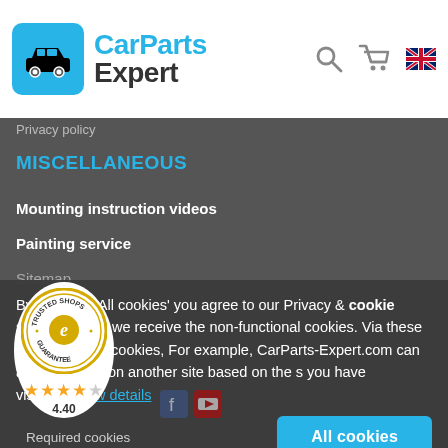CarParts Expert
Privacy policy
MISCELLANEOUS
Mounting instruction videos
Painting service
Sitemap
By clicking 'All cookies' you agree to our Privacy & cookie statement and we receive the non-functional cookies. Via these non-functional cookies, For example, CarParts-Expert.com can approach you on another site based on the s you have visited. Show details
Required cookies
All cookies
[Figure (logo): Trusted Shops guarantee badge with 4 gold stars and rating 4.40]